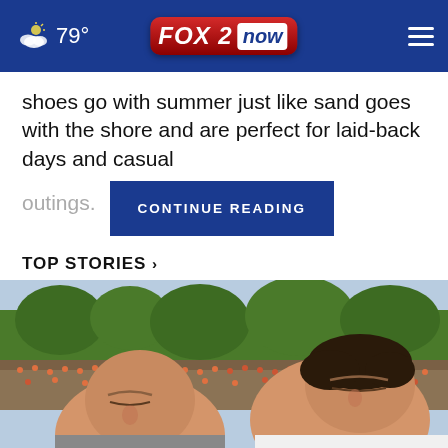79° FOX 2 now
shoes go with summer just like sand goes with the shore and are perfect for laid-back days and casual outings.
CONTINUE READING
TOP STORIES ›
[Figure (photo): Two men at a football stadium, one bald and one with short dark hair, appearing to be coaches or officials, with crowd and trees visible in the background.]